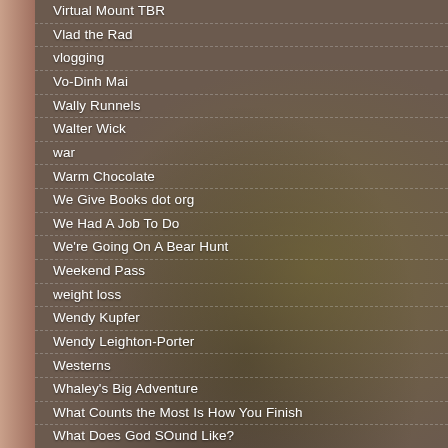Virtual Mount TBR
Vlad the Rad
vlogging
Vo-Dinh Mai
Wally Runnels
Walter Wick
war
Warm Chocolate
We Give Books dot org
We Had A Job To Do
We're Going On A Bear Hunt
Weekend Pass
weight loss
Wendy Kupfer
Wendy Leighton-Porter
Westerns
Whaley's Big Adventure
What Counts the Most Is How You Finish
What Does God SOund Like?